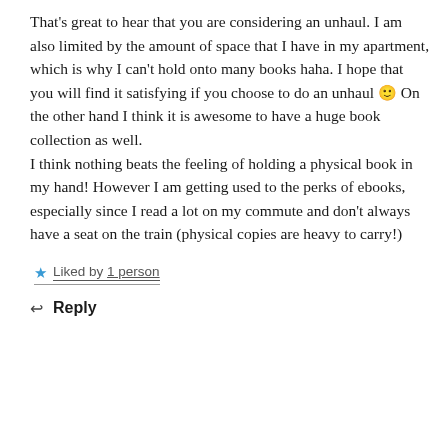That's great to hear that you are considering an unhaul. I am also limited by the amount of space that I have in my apartment, which is why I can't hold onto many books haha. I hope that you will find it satisfying if you choose to do an unhaul 🙂 On the other hand I think it is awesome to have a huge book collection as well.
I think nothing beats the feeling of holding a physical book in my hand! However I am getting used to the perks of ebooks, especially since I read a lot on my commute and don't always have a seat on the train (physical copies are heavy to carry!)
★ Liked by 1 person
↩ Reply